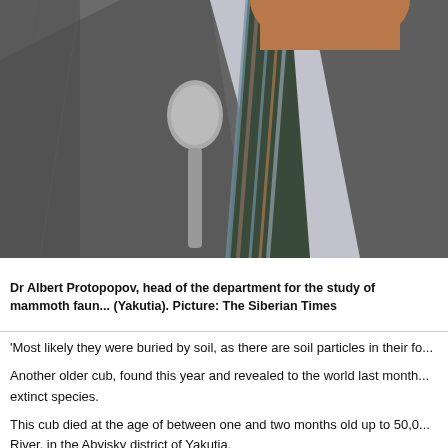[Figure (photo): Photograph of Dr Albert Protopopov, a man in a grey suit with a striped tie, holding or leaning toward a microphone. Only his torso, neck, and lower face are visible. The image is cropped at the top.]
Dr Albert Protopopov, head of the department for the study of mammoth fauna (Yakutia). Picture: The Siberian Times
'Most likely they were buried by soil, as there are soil particles in their fo...
Another older cub, found this year and revealed to the world last month... extinct species.
This cub died at the age of between one and two months old up to 50,0... River, in the Abyisky district of Yakutia.
Analysis is only now beginning on it, but the cub's colouring indicates th...